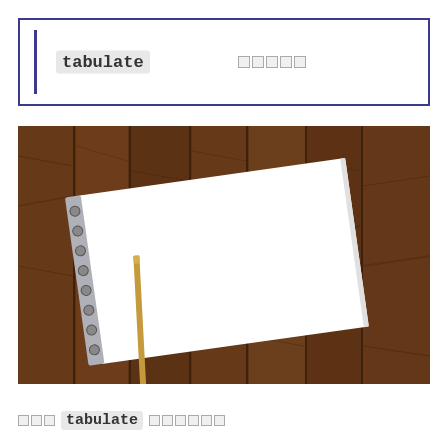tabulate □□□□□
[Figure (photo): A photo of an open blank white spiral notebook lying at an angle on a dark wooden plank surface, with a pencil resting on it.]
□□□ tabulate □□□□□□